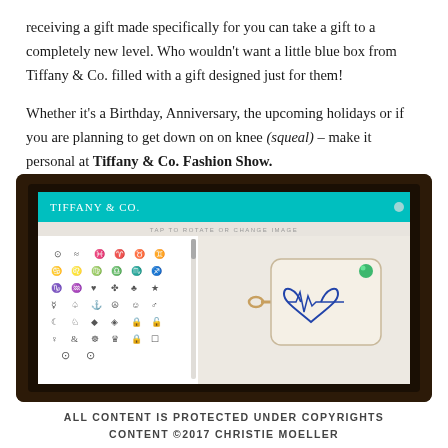receiving a gift made specifically for you can take a gift to a completely new level. Who wouldn't want a little blue box from Tiffany & Co. filled with a gift designed just for them!
Whether it's a Birthday, Anniversary, the upcoming holidays or if you are planning to get down on on knee (squeal) – make it personal at Tiffany & Co. Fashion Show.
[Figure (photo): Photo of a tablet displaying the Tiffany & Co. personalization app, showing a grid of symbols on the left and a gift tag with a heart/EKG design on the right.]
ALL CONTENT IS PROTECTED UNDER COPYRIGHTS CONTENT ©2017 CHRISTIE MOELLER